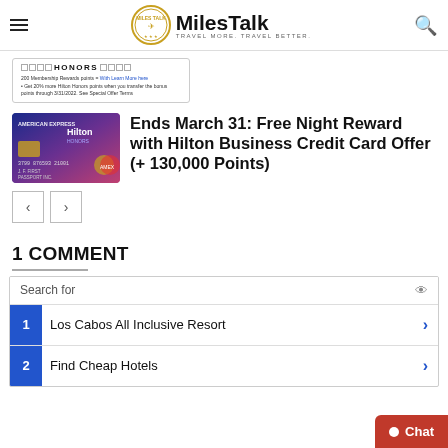MilesTalk — TRAVEL MORE. TRAVEL BETTER.
[Figure (screenshot): Partial view of a Hilton Honors credit card advertisement with small fine print text]
[Figure (photo): American Express Hilton Honors business credit card in blue/purple gradient]
Ends March 31: Free Night Reward with Hilton Business Credit Card Offer (+ 130,000 Points)
[Figure (screenshot): Navigation previous and next arrow buttons]
1 COMMENT
[Figure (screenshot): Search widget showing: Search for, 1 Los Cabos All Inclusive Resort, 2 Find Cheap Hotels, with chat bubble overlay]
Chat